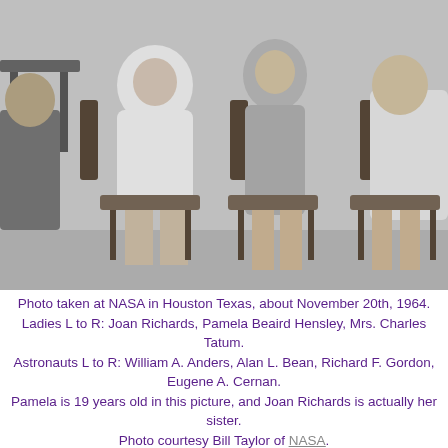[Figure (photo): Black and white photograph taken at NASA in Houston Texas, about November 20th, 1964. Shows women and astronauts seated in chairs. Ladies L to R: Joan Richards, Pamela Beaird Hensley, Mrs. Charles Tatum. Astronauts L to R: William A. Anders, Alan L. Bean, Richard F. Gordon, Eugene A. Cernan.]
Photo taken at NASA in Houston Texas, about November 20th, 1964. Ladies L to R: Joan Richards, Pamela Beaird Hensley, Mrs. Charles Tatum. Astronauts L to R: William A. Anders, Alan L. Bean, Richard F. Gordon, Eugene A. Cernan. Pamela is 19 years old in this picture, and Joan Richards is actually her sister. Photo courtesy Bill Taylor of NASA.
Leave It to Beaver episodes Pamela Beaird (Baird) Hensley played in: